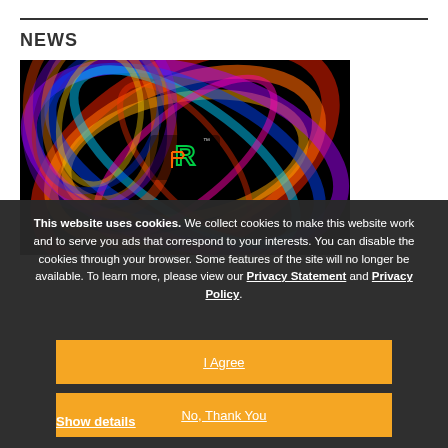NEWS
[Figure (photo): Colorful neon light swirl on black background with a logo visible in the center]
This website uses cookies. We collect cookies to make this website work and to serve you ads that correspond to your interests. You can disable the cookies through your browser. Some features of the site will no longer be available. To learn more, please view our Privacy Statement and Privacy Policy.
I Agree
No, Thank You
Show details